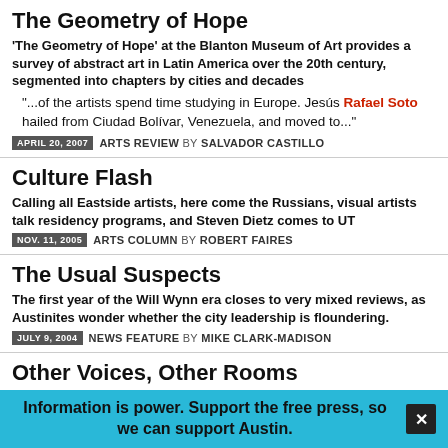The Geometry of Hope
'The Geometry of Hope' at the Blanton Museum of Art provides a survey of abstract art in Latin America over the 20th century, segmented into chapters by cities and decades
"...of the artists spend time studying in Europe. Jesús Rafael Soto hailed from Ciudad Bolívar, Venezuela, and moved to..."
APRIL 20, 2007  ARTS REVIEW BY SALVADOR CASTILLO
Culture Flash
Calling all Eastside artists, here come the Russians, visual artists talk residency programs, and Steven Dietz comes to UT
NOV. 11, 2005  ARTS COLUMN BY ROBERT FAIRES
The Usual Suspects
The first year of the Will Wynn era closes to very mixed reviews, as Austinites wonder whether the city leadership is floundering.
JULY 9, 2004  NEWS FEATURE BY MIKE CLARK-MADISON
Other Voices, Other Rooms
"Sharon Bridgforth's works aren't meant to be read silently," Suzy Spencer writes. "Some folks would say that's like eating barbecue without the sauce. But if it's good barbecue, you can do without the
JULY 28, 2000  BOOKS FEATURE BY SUZY SPENCER
Information is power. Support the free press, so we can support Austin.